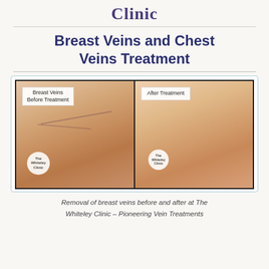Clinic
Breast Veins and Chest Veins Treatment
[Figure (photo): Before and after comparison photos showing breast veins before treatment (left) and after treatment (right) at The Whiteley Clinic. Each photo has a label box and a circular Whiteley Clinic watermark logo.]
Removal of breast veins before and after at The Whiteley Clinic – Pioneering Vein Treatments